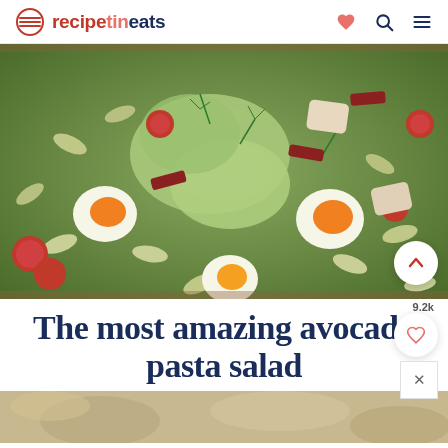recipetineats
[Figure (photo): Close-up overhead photo of avocado pasta salad in a wooden bowl with rotini pasta, soft-boiled eggs, cherry tomatoes, bacon, chicken, dill, and green avocado dressing]
The most amazing avocado pasta salad